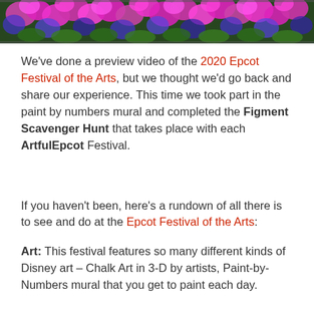[Figure (photo): Colorful flower garden photo strip at the top of the page, featuring bright pink, purple, and blue flowers]
We've done a preview video of the 2020 Epcot Festival of the Arts, but we thought we'd go back and share our experience. This time we took part in the paint by numbers mural and completed the Figment Scavenger Hunt that takes place with each ArtfulEpcot Festival.
If you haven't been, here's a rundown of all there is to see and do at the Epcot Festival of the Arts:
Art: This festival features so many different kinds of Disney art – Chalk Art in 3-D by artists, Paint-by-Numbers mural that you get to paint each day.